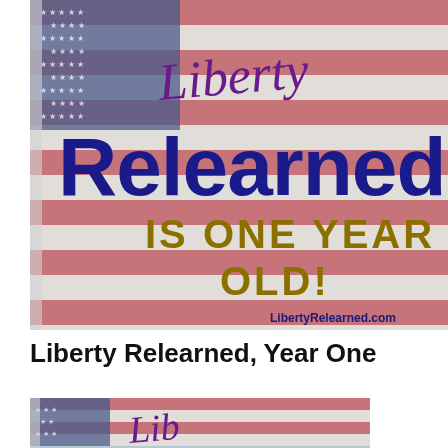[Figure (illustration): American flag background image with text overlay: cursive purple 'Liberty', large dark blue 'Relearned', gold bold 'IS ONE YEAR OLD!', and small text 'LibertyRelearned.com' at bottom right]
Liberty Relearned, Year One
[Figure (illustration): Partial American flag background image showing the bottom portion, cropped view with beginning of cursive text visible]